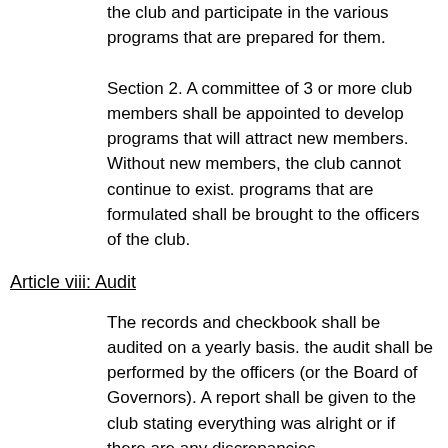the club and participate in the various programs that are prepared for them.
Section 2. A committee of 3 or more club members shall be appointed to develop programs that will attract new members. Without new members, the club cannot continue to exist. programs that are formulated shall be brought to the officers of the club.
Article viii: Audit
The records and checkbook shall be audited on a yearly basis. the audit shall be performed by the officers (or the Board of Governors). A report shall be given to the club stating everything was alright or if there are any discrepancies.